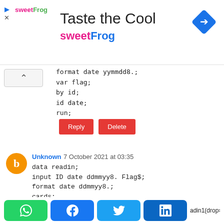[Figure (logo): sweetFrog advertisement banner with logo, 'Taste the Cool' title, and navigation diamond icon]
format date yymmdd8.;
var flag;
by id;
id date;
run;
Reply | Delete
Unknown 7 October 2021 at 03:35
data readin;
input ID date ddmmyy8. Flag$;
format date ddmmyy8.;
cards;
1 30-12-16 Y
1 30-08-17 N
1 31-08-18 N
2 30-06-16 Y
2 31-12-18 N
;
;
run;
[Figure (infographic): Social share buttons: WhatsApp (green), Facebook (blue), Twitter (light blue), LinkedIn (dark blue), and partial text 'adin1(drop=_name_)']